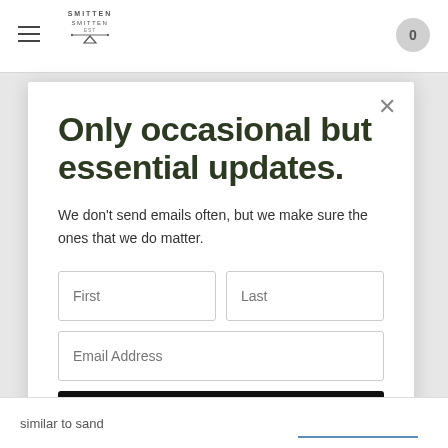Smitten — navigation bar with hamburger menu, logo, and cart (0)
Only occasional but essential updates.
We don't send emails often, but we make sure the ones that we do matter.
First | Last (form fields)
Email Address (form field)
Subscribe
similar to sand